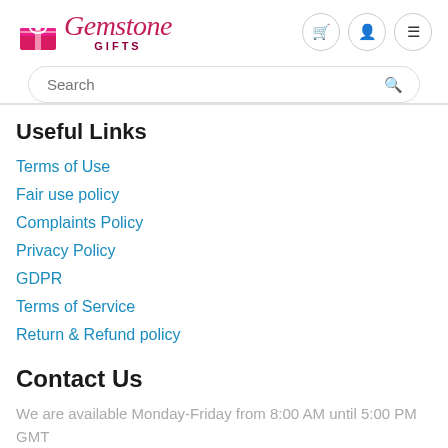[Figure (logo): Gemstone Gifts logo with pink gift box icon and stylized text]
Search
Useful Links
Terms of Use
Fair use policy
Complaints Policy
Privacy Policy
GDPR
Terms of Service
Return & Refund policy
Contact Us
We are available Monday-Friday from 8:00 AM until 5:00 PM GMT
Keep in Touch